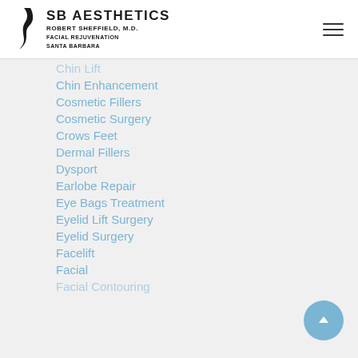[Figure (logo): SB Aesthetics logo with facial silhouette profile and text: SB AESTHETICS, ROBERT SHEFFIELD, M.D., FACIAL REJUVENATION, SANTA BARBARA]
Chin Enhancement
Cosmetic Fillers
Cosmetic Surgery
Crows Feet
Dermal Fillers
Dysport
Earlobe Repair
Eye Bags Treatment
Eyelid Lift Surgery
Eyelid Surgery
Facelift
Facial
Facial Contouring